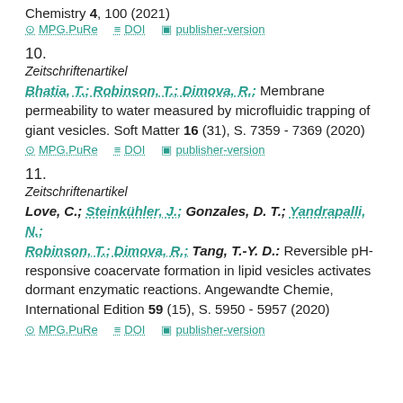Chemistry 4, 100 (2021)
MPG.PuRe   DOI   publisher-version
10.
Zeitschriftenartikel
Bhatia, T.; Robinson, T.; Dimova, R.: Membrane permeability to water measured by microfluidic trapping of giant vesicles. Soft Matter 16 (31), S. 7359 - 7369 (2020)
MPG.PuRe   DOI   publisher-version
11.
Zeitschriftenartikel
Love, C.; Steinkühler, J.; Gonzales, D. T.; Yandrapalli, N.; Robinson, T.; Dimova, R.; Tang, T.-Y. D.: Reversible pH-responsive coacervate formation in lipid vesicles activates dormant enzymatic reactions. Angewandte Chemie, International Edition 59 (15), S. 5950 - 5957 (2020)
MPG.PuRe   DOI   publisher-version